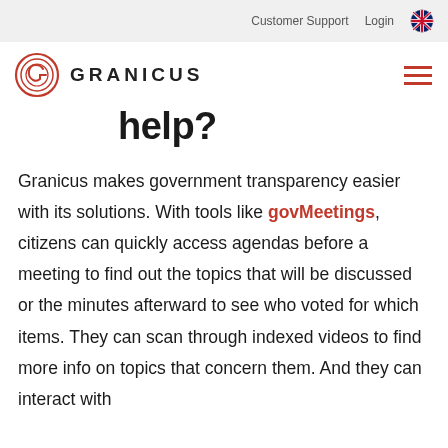Customer Support   Login
[Figure (logo): Granicus logo with circular G icon and GRANICUS wordmark]
help?
Granicus makes government transparency easier with its solutions. With tools like govMeetings, citizens can quickly access agendas before a meeting to find out the topics that will be discussed or the minutes afterward to see who voted for which items. They can scan through indexed videos to find more info on topics that concern them. And they can interact with